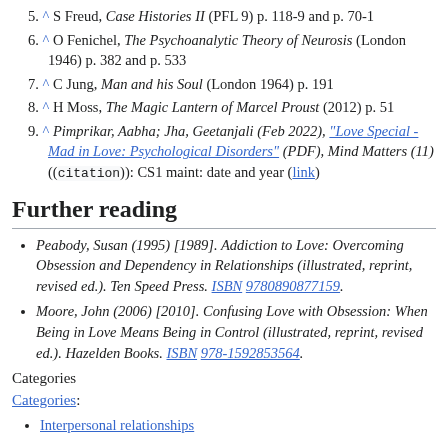5. ^ S Freud, Case Histories II (PFL 9) p. 118-9 and p. 70-1
6. ^ O Fenichel, The Psychoanalytic Theory of Neurosis (London 1946) p. 382 and p. 533
7. ^ C Jung, Man and his Soul (London 1964) p. 191
8. ^ H Moss, The Magic Lantern of Marcel Proust (2012) p. 51
9. ^ Pimprikar, Aabha; Jha, Geetanjali (Feb 2022), "Love Special - Mad in Love: Psychological Disorders" (PDF), Mind Matters (11)((citation)): CS1 maint: date and year (link)
Further reading
Peabody, Susan (1995) [1989]. Addiction to Love: Overcoming Obsession and Dependency in Relationships (illustrated, reprint, revised ed.). Ten Speed Press. ISBN 9780890877159.
Moore, John (2006) [2010]. Confusing Love with Obsession: When Being in Love Means Being in Control (illustrated, reprint, revised ed.). Hazelden Books. ISBN 978-1592853564.
Categories
Categories:
Interpersonal relationships